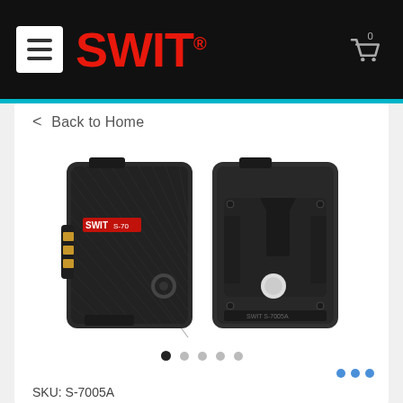SWIT® (navigation header with menu icon and cart)
< Back to Home
[Figure (photo): Product photo showing front and back views of a SWIT S-7005A V-mount battery. Left image shows front face with textured black surface, gold contacts, and red SWIT branding. Right image shows rear mounting plate with V-lock bracket and white release button.]
SKU: S-7005A